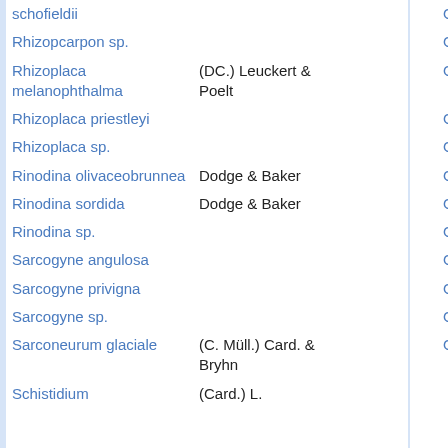| Name | Author |  | Observations |
| --- | --- | --- | --- |
| schofieldii |  |  | Observations |
| Rhizopcarpon sp. |  |  | Observations |
| Rhizoplaca melanophthalma | (DC.) Leuckert & Poelt |  | Observations |
| Rhizoplaca priestleyi |  |  | Observations |
| Rhizoplaca sp. |  |  | Observations |
| Rinodina olivaceobrunnea | Dodge & Baker |  | Observations |
| Rinodina sordida | Dodge & Baker |  | Observations |
| Rinodina sp. |  |  | Observations |
| Sarcogyne angulosa |  |  | Observations |
| Sarcogyne privigna |  |  | Observations |
| Sarcogyne sp. |  |  | Observations |
| Sarconeurum glaciale | (C. Müll.) Card. & Bryhn |  | Observations |
| Schistidium | (Card.) L. |  |  |